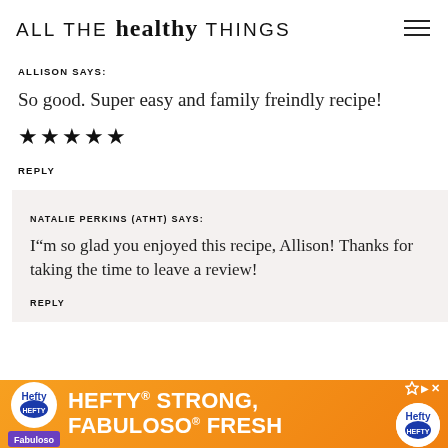ALL THE healthy THINGS
ALLISON SAYS:
So good. Super easy and family freindly recipe!
[Figure (other): Five black star rating icons]
REPLY
NATALIE PERKINS (ATHT) SAYS:
I”m so glad you enjoyed this recipe, Allison! Thanks for taking the time to leave a review!
REPLY
[Figure (infographic): Hefty STRONG, FABULOSO FRESH advertisement banner with orange background]